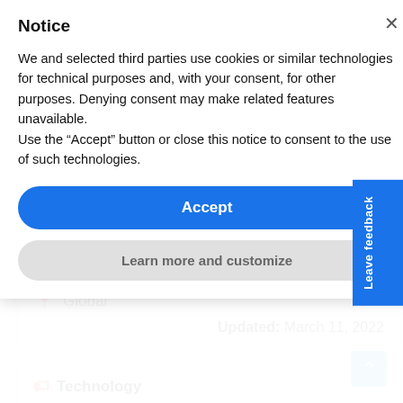Notice
We and selected third parties use cookies or similar technologies for technical purposes and, with your consent, for other purposes. Denying consent may make related features unavailable.
Use the “Accept” button or close this notice to consent to the use of such technologies.
Accept
Learn more and customize
Leave feedback
Global
Updated: March 11, 2022
Technology